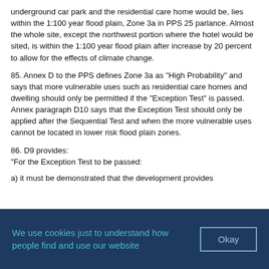underground car park and the residential care home would be, lies within the 1:100 year flood plain, Zone 3a in PPS 25 parlance. Almost the whole site, except the northwest portion where the hotel would be sited, is within the 1:100 year flood plain after increase by 20 percent to allow for the effects of climate change.
85. Annex D to the PPS defines Zone 3a as "High Probability" and says that more vulnerable uses such as residential care homes and dwelling should only be permitted if the "Exception Test" is passed. Annex paragraph D10 says that the Exception Test should only be applied after the Sequential Test and when the more vulnerable uses cannot be located in lower risk flood plain zones.
86. D9 provides:
"For the Exception Test to be passed:
a) it must be demonstrated that the development provides
We use cookies just to understand how people find and use our website
Okay